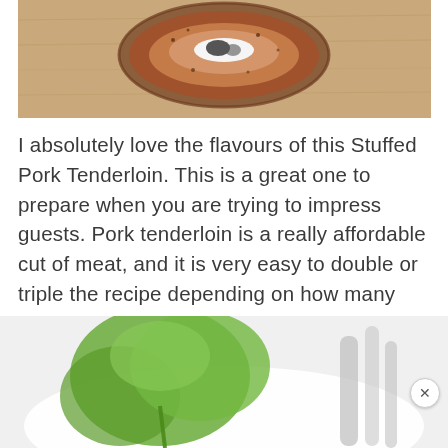[Figure (photo): Close-up photo of a sliced stuffed pork tenderloin on a wooden cutting board, showing the cross-section with filling inside]
I absolutely love the flavours of this Stuffed Pork Tenderloin. This is a great one to prepare when you are trying to impress guests. Pork tenderloin is a really affordable cut of meat, and it is very easy to double or triple the recipe depending on how many people you have to serve.
[Figure (photo): Partial photo of herbs (parsley) and blurred utensils on a white surface, bottom of page]